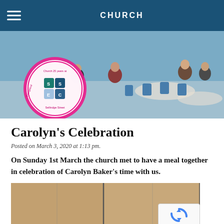CHURCH
[Figure (photo): Photo of church gathering/celebration event with people sitting at tables, and a circular logo overlay reading '25 years at Sellindge Street Evangelical Church' with SSEC initials]
Carolyn's Celebration
Posted on March 3, 2020 at 1:13 pm.
On Sunday 1st March the church met to have a meal together in celebration of Carolyn Baker's time with us.
[Figure (photo): Photo showing brown folding partition panels/screens]